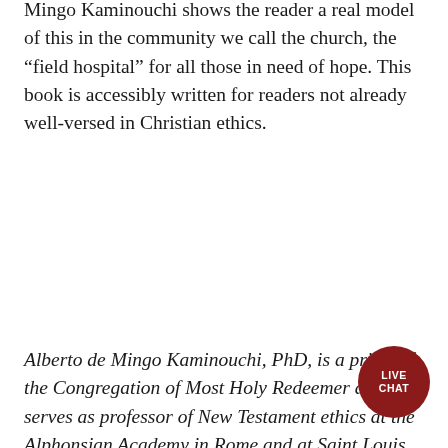Mingo Kaminouchi shows the reader a real model of this in the community we call the church, the “field hospital” for all those in need of hope. This book is accessibly written for readers not already well-versed in Christian ethics.
Alberto de Mingo Kaminouchi, PhD, is a priest of the Congregation of Most Holy Redeemer and serves as professor of New Testament ethics at the Alphonsian Academy in Rome and at Saint Louis University (Madrid campus). He was born in Hiroshima, Japan, in 1964, of a Japanese mother and a Spanish father. A Redemptorist missionary, he studied theology at the Pontifical University of Salamanca. He was ordained to the priestho[od in] 1993. He received a license in Sacred Scripture [at the] Pontifical Biblical Institute in Rome and a doctorate